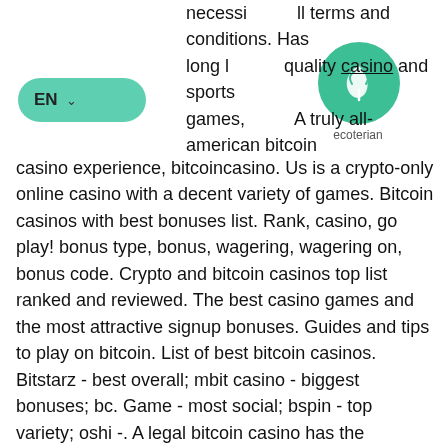[Figure (logo): Green circular logo with a leaf/plant icon and 'ecoterian' label beneath]
necessi ll terms and conditions. Has long l quality casino and sports games, A truly all-american bitcoin casino experience, bitcoincasino. Us is a crypto-only online casino with a decent variety of games. Bitcoin casinos with best bonuses list. Rank, casino, go play! bonus type, bonus, wagering, wagering on, bonus code. Crypto and bitcoin casinos top list ranked and reviewed. The best casino games and the most attractive signup bonuses. Guides and tips to play on bitcoin. List of best bitcoin casinos. Bitstarz - best overall; mbit casino - biggest bonuses; bc. Game - most social; bspin - top variety; oshi -. A legal bitcoin casino has the conditions for fair play. Based on its assessment, we have compiled a list of the best bitcoin casinos:. Super slots - best. It wasn't until 2009 that the bitcoin specification was published in a cryptography mailing list. No one owns the